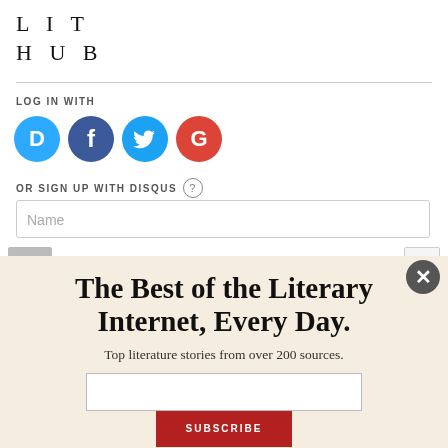[Figure (logo): LIT HUB logo in serif spaced lettering]
LOG IN WITH
[Figure (infographic): Social login icons: Disqus (D), Facebook (f), Twitter bird, Google (G)]
OR SIGN UP WITH DISQUS (?)
Name
Una Laura
The Best of the Literary Internet, Every Day.
Top literature stories from over 200 sources.
SUBSCRIBE